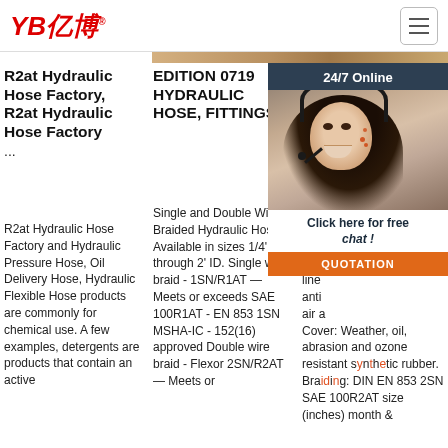YB亿博® [hamburger menu icon]
R2at Hydraulic Hose Factory, R2at Hydraulic Hose Factory ...
R2at Hydraulic Hose Factory and Hydraulic Pressure Hose, Oil Delivery Hose, Hydraulic Flexible Hose products are commonly for chemical use. A few examples, detergents are products that contain an active
EDITION 0719 HYDRAULIC HOSE, FITTINGS &
Single and Double Wire Braided Hydraulic Hoses Available in sizes 1/4' through 2' ID. Single wire braid - 1SN/R1AT — Meets or exceeds SAE 100R1AT - EN 853 1SN MSHA-IC - 152(16) approved Double wire braid - Flexor 2SN/R2AT — Meets or
2 W... Hy... Ho... 10(
SAE ... wire ... rub... pres... line... anti... air a... Cover: Weather, oil, abrasion and ozone resistant synthetic rubber. Braiding: DIN EN 853 2SN SAE 100R2AT size (inches) month &
[Figure (photo): Customer service representative (woman with headset) overlaid with 24/7 Online chat widget, Click here for free chat!, and QUOTATION button in orange]